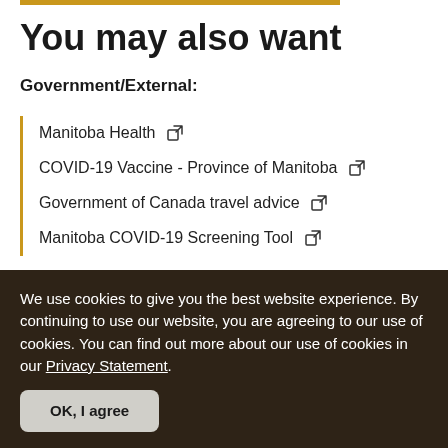You may also want
Government/External:
Manitoba Health ↗
COVID-19 Vaccine - Province of Manitoba ↗
Government of Canada travel advice ↗
Manitoba COVID-19 Screening Tool ↗
We use cookies to give you the best website experience. By continuing to use our website, you are agreeing to our use of cookies. You can find out more about our use of cookies in our Privacy Statement.
OK, I agree